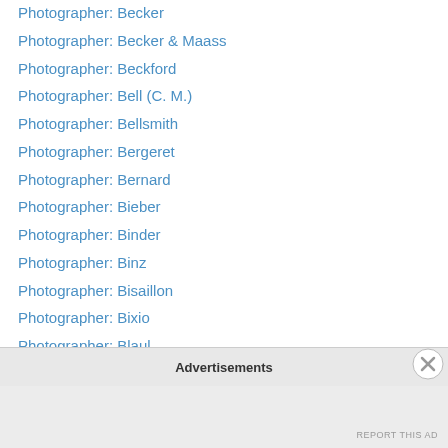Photographer: Becker
Photographer: Becker & Maass
Photographer: Beckford
Photographer: Bell (C. M.)
Photographer: Bellsmith
Photographer: Bergeret
Photographer: Bernard
Photographer: Bieber
Photographer: Binder
Photographer: Binz
Photographer: Bisaillon
Photographer: Bixio
Photographer: Blaul
Photographer: Blessing
Photographer: Bliss Brothers
Photographer: Boesinger
Advertisements
REPORT THIS AD